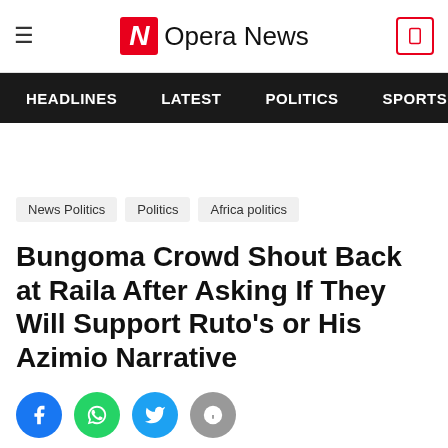Opera News
HEADLINES  LATEST  POLITICS  SPORTS
News Politics  Politics  Africa politics
Bungoma Crowd Shout Back at Raila After Asking If They Will Support Ruto's or His Azimio Narrative
[Figure (other): Social share buttons: Facebook, WhatsApp, Twitter, Info, and a red expand/scroll down button]